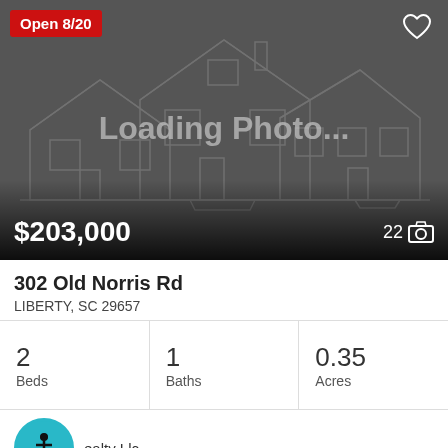[Figure (screenshot): Real estate listing card. Dark gray background with wireframe house illustration and 'Loading Photo...' text overlay. Red 'Open 8/20' badge top-left. Heart icon top-right. Price $203,000 and photo count 22 at bottom of image area.]
302 Old Norris Rd
LIBERTY, SC 29657
2 Beds
1 Baths
0.35 Acres
Realty Llc